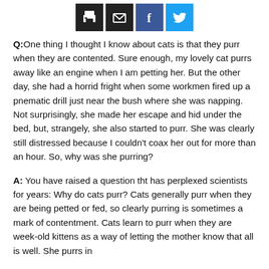[Share icons: print, email, facebook, twitter]
Q: One thing I thought I know about cats is that they purr when they are contented. Sure enough, my lovely cat purrs away like an engine when I am petting her. But the other day, she had a horrid fright when some workmen fired up a pnematic drill just near the bush where she was napping. Not surprisingly, she made her escape and hid under the bed, but, strangely, she also started to purr. She was clearly still distressed because I couldn't coax her out for more than an hour. So, why was she purring?
A: You have raised a question tht has perplexed scientists for years: Why do cats purr? Cats generally purr when they are being petted or fed, so clearly purring is sometimes a mark of contentment. Cats learn to purr when they are week-old kittens as a way of letting the mother know that all is well. She purrs in